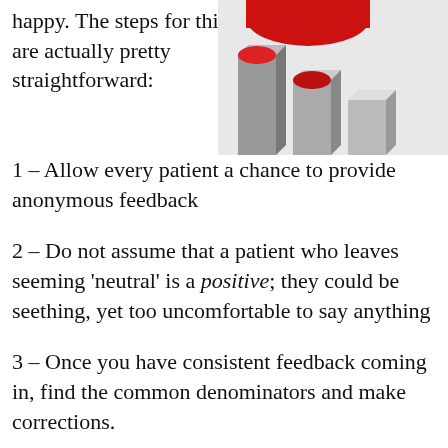happy. The steps for this are actually pretty straightforward:
[Figure (illustration): 3D bar chart illustration with red and grey bars, partially cropped at top right corner of page]
1 – Allow every patient a chance to provide anonymous feedback
2 – Do not assume that a patient who leaves seeming 'neutral' is a positive; they could be seething, yet too uncomfortable to say anything
3 – Once you have consistent feedback coming in, find the common denominators and make corrections.
4 – Gather more feedback, find more consistent issues, repeat